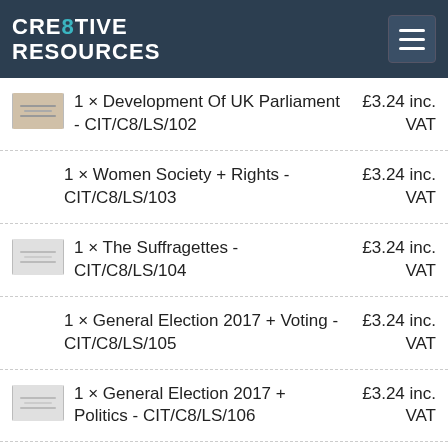CRE8TIVE RESOURCES
1 × Development Of UK Parliament - CIT/C8/LS/102 — £3.24 inc. VAT
1 × Women Society + Rights - CIT/C8/LS/103 — £3.24 inc. VAT
1 × The Suffragettes - CIT/C8/LS/104 — £3.24 inc. VAT
1 × General Election 2017 + Voting - CIT/C8/LS/105 — £3.24 inc. VAT
1 × General Election 2017 + Politics - CIT/C8/LS/106 — £3.24 inc. VAT
1 × House of Commons + Politics - CIT/C8/LS/107 — £3.24 £3.00 inc. VAT